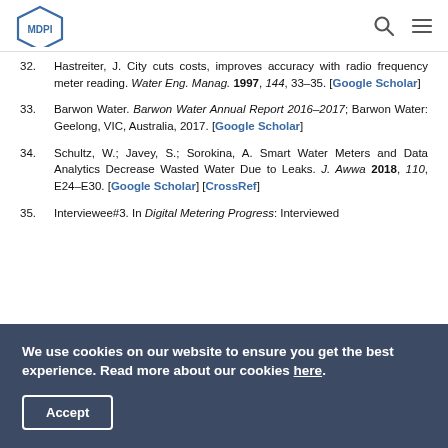MDPI
32. Hastreiter, J. City cuts costs, improves accuracy with radio frequency meter reading. Water Eng. Manag. 1997, 144, 33–35. [Google Scholar]
33. Barwon Water. Barwon Water Annual Report 2016–2017; Barwon Water: Geelong, VIC, Australia, 2017. [Google Scholar]
34. Schultz, W.; Javey, S.; Sorokina, A. Smart Water Meters and Data Analytics Decrease Wasted Water Due to Leaks. J. Awwa 2018, 110, E24–E30. [Google Scholar] [CrossRef]
35. Interviewee#3. In Digital Metering Progress: Interviewed
We use cookies on our website to ensure you get the best experience. Read more about our cookies here.